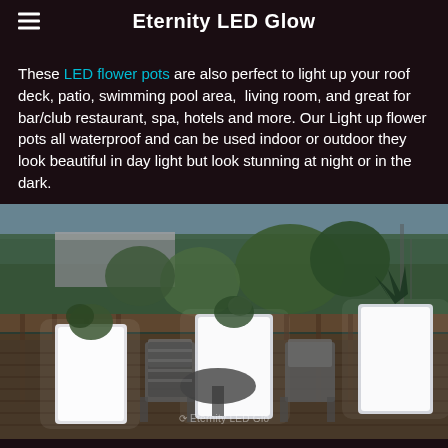Eternity LED Glow
These LED flower pots are also perfect to light up your roof deck, patio, swimming pool area, living room, and great for bar/club restaurant, spa, hotels and more. Our Light up flower pots all waterproof and can be used indoor or outdoor they look beautiful in day light but look stunning at night or in the dark.
[Figure (photo): Outdoor deck/patio scene with glowing white LED flower pots, patio chairs, trees and wooden railing in background. Eternity LED Glo watermark at bottom center.]